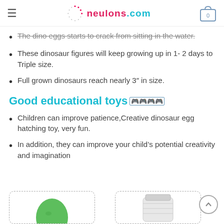neulons.com
The dino eggs starts to crack from sitting in the water.
These dinosaur figures will keep growing up in 1- 2 days to Triple size.
Full grown dinosaurs reach nearly 3″ in size.
Good educational toys🎮🎮🎮🎮
Children can improve patience,Creative dinosaur egg hatching toy, very fun.
In addition, they can improve your child’s potential creativity and imagination
[Figure (photo): Two product images at the bottom: left shows a green dinosaur egg, right shows a white plastic jar/container, both inside dashed rounded rectangle borders.]